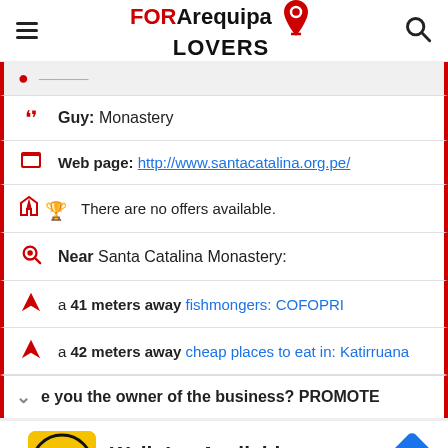FOR Arequipa LOVERS
Guy: Monastery
Web page: http://www.santacatalina.org.pe/
There are no offers available.
Near Santa Catalina Monastery:
a 41 meters away fishmongers: COFOPRI
a 42 meters away cheap places to eat in: Katirruana
Are you the owner of the business? PROMOTE
[Figure (infographic): Advertisement banner for Hair Cuttery showing Walk-Ins Available text with HC logo and navigation arrow icon]